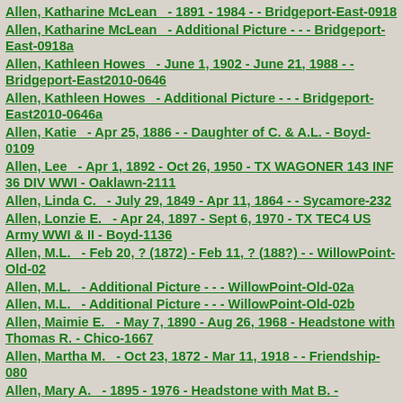Allen, Katharine McLean  - 1891 - 1984 - - Bridgeport-East-0918
Allen, Katharine McLean  - Additional Picture - - - Bridgeport-East-0918a
Allen, Kathleen Howes  - June 1, 1902 - June 21, 1988 - - Bridgeport-East2010-0646
Allen, Kathleen Howes  - Additional Picture - - - Bridgeport-East2010-0646a
Allen, Katie  - Apr 25, 1886 - - Daughter of C. & A.L. - Boyd-0109
Allen, Lee  - Apr 1, 1892 - Oct 26, 1950 - TX WAGONER 143 INF 36 DIV WWI - Oaklawn-2111
Allen, Linda C.  - July 29, 1849 - Apr 11, 1864 - - Sycamore-232
Allen, Lonzie E.  - Apr 24, 1897 - Sept 6, 1970 - TX TEC4 US Army WWI & II - Boyd-1136
Allen, M.L.  - Feb 20, ? (1872) - Feb 11, ? (188?) - - WillowPoint-Old-02
Allen, M.L.  - Additional Picture - - - WillowPoint-Old-02a
Allen, M.L.  - Additional Picture - - - WillowPoint-Old-02b
Allen, Maimie E.  - May 7, 1890 - Aug 26, 1968 - Headstone with Thomas R. - Chico-1667
Allen, Martha M.  - Oct 23, 1872 - Mar 11, 1918 - - Friendship-080
Allen, Mary A.  - 1895 - 1976 - Headstone with Mat B. -